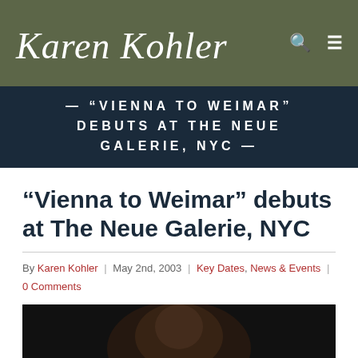[Figure (logo): Karen Kohler cursive signature logo in white on olive/dark green background header with search and menu icons]
— “VIENNA TO WEIMAR” DEBUTS AT THE NEUE GALERIE, NYC —
“Vienna to Weimar” debuts at The Neue Galerie, NYC
By Karen Kohler | May 2nd, 2003 | Key Dates, News & Events | 0 Comments
[Figure (photo): Dark photograph partially visible at bottom of page, showing a person]